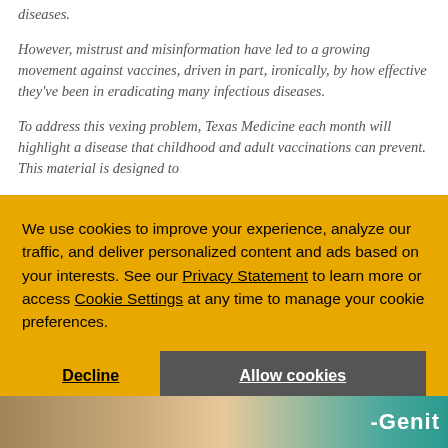diseases.
However, mistrust and misinformation have led to a growing movement against vaccines, driven in part, ironically, by how effective they've been in eradicating many infectious diseases.
To address this vexing problem, Texas Medicine each month will highlight a disease that childhood and adult vaccinations can prevent. This material is designed to
We use cookies to improve your experience, analyze our traffic, and deliver personalized content and ads based on your interests. See our Privacy Statement to learn more or access Cookie Settings at any time to manage your cookie preferences.
Decline
Allow cookies
[Figure (photo): Bottom strip showing partial faces and a teal/green colored panel with text '-Genit']